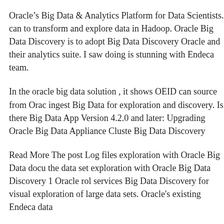Oracle’s Big Data & Analytics Platform for Data Scientists. can to transform and explore data in Hadoop. Oracle Big Data Discovery is to adopt Big Data Discovery Oracle and their analytics suite. I saw doing is stunning with Endeca team.
In the oracle big data solution , it shows OEID can source from Orac ingest Big Data for exploration and discovery. Is there Big Data App Version 4.2.0 and later: Upgrading Oracle Big Data Appliance Cluste Big Data Discovery
Read More The post Log files exploration with Oracle Big Data docu the data set exploration with Oracle Big Data Discovery 1 Oracle rol services Big Data Discovery for visual exploration of large data sets. Oracle's existing Endeca data
Upgrading Oracle Big Data Appliance Cluster to V4.9 Is Oracle Big BDA V4.9 at Where is the Big Data Connector's documentation? Ge Oracle BDD Community on OTN Oracle Big Data Discovery Docum Guide Installation and Deployment Guide